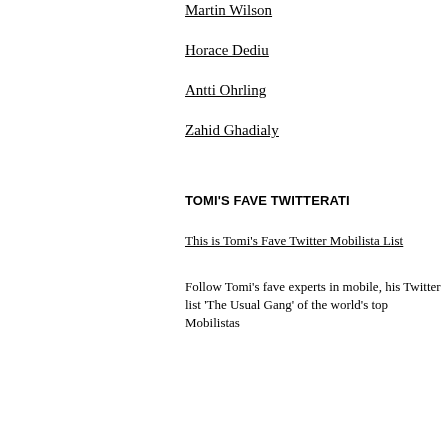mu
Martin Wilson
lar
Horace Dediu
mu
Antti Ohrling
ma
Zahid Ghadialy
exp
TOMI'S FAVE TWITTERATI
du
This is Tomi's Fave Twitter Mobilista List
Follow Tomi's fave experts in mobile, his Twitter list 'The Usual Gang' of the world's top Mobilistas
20
gr
at
24.
!
Ye
A
ma
30
mi